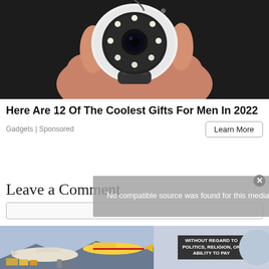[Figure (photo): A hand holding a small white PTZ security camera with LED lights around the lens, on a dark background.]
Here Are 12 Of The Coolest Gifts For Men In 2022
Gadgets | Sponsored
Learn More
Leave a Comment
No compatible source was found for this media.
[Figure (photo): Bottom banner advertisement showing cargo being loaded on airplanes, with 'WITHOUT REGARD TO POLITICS, RELIGION, OR ABILITY TO PAY' text overlay.]